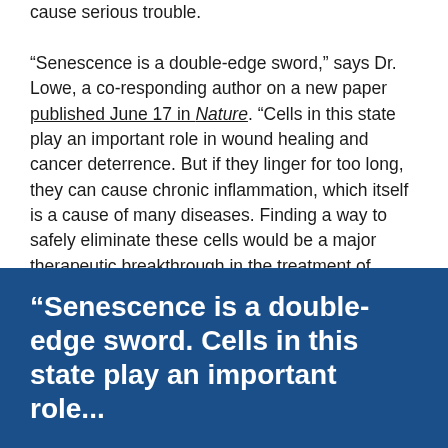cause serious trouble.

“Senescence is a double-edge sword,” says Dr. Lowe, a co-responding author on a new paper published June 17 in Nature. “Cells in this state play an important role in wound healing and cancer deterrence. But if they linger for too long, they can cause chronic inflammation, which itself is a cause of many diseases. Finding a way to safely eliminate these cells would be a major therapeutic breakthrough in the treatment of these diseases.”
[Figure (infographic): Blue pull-quote box with white bold text reading: “Senescence is a double-edge sword. Cells in this state play an important role...”]